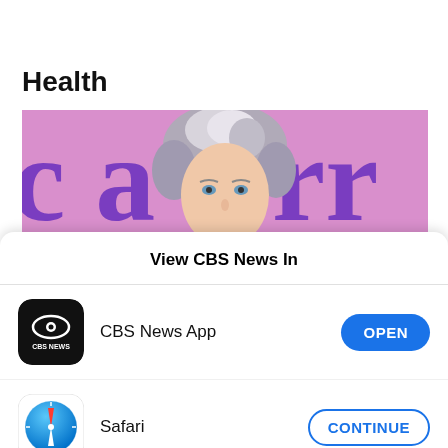Health
[Figure (photo): A woman with grey-white short hair photographed in front of a pink/purple background with large purple lettering partially visible]
View CBS News In
[Figure (logo): CBS News App icon — black rounded square with CBS eye logo and CBS NEWS text]
CBS News App
OPEN
[Figure (logo): Safari browser icon — blue compass on white rounded square background]
Safari
CONTINUE